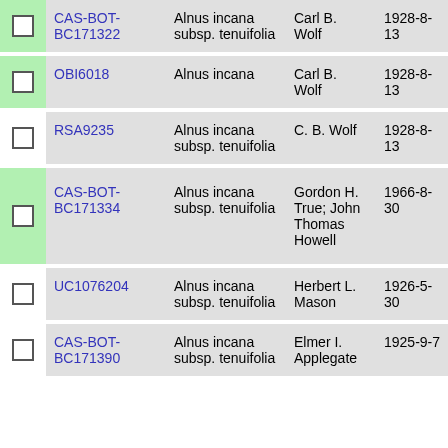|  | ID | Taxon | Collector | Date | Num |
| --- | --- | --- | --- | --- | --- |
|  | CAS-BOT-BC171322 | Alnus incana subsp. tenuifolia | Carl B. Wolf | 1928-8-13 | 3273 |
|  | OBI6018 | Alnus incana | Carl B. Wolf | 1928-8-13 | 3273 |
|  | RSA9235 | Alnus incana subsp. tenuifolia | C. B. Wolf | 1928-8-13 | 3273 |
|  | CAS-BOT-BC171334 | Alnus incana subsp. tenuifolia | Gordon H. True; John Thomas Howell | 1966-8-30 | 3278 |
|  | UC1076204 | Alnus incana subsp. tenuifolia | Herbert L. Mason | 1926-5-30 | 3325 |
|  | CAS-BOT-BC171390 | Alnus incana subsp. tenuifolia | Elmer I. Applegate | 1925-9-7 | 3363 |